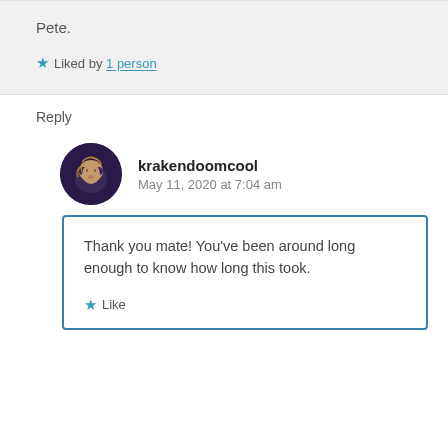Pete.
★ Liked by 1 person
Reply
krakendoomcool
May 11, 2020 at 7:04 am
Thank you mate! You've been around long enough to know how long this took.
★ Like